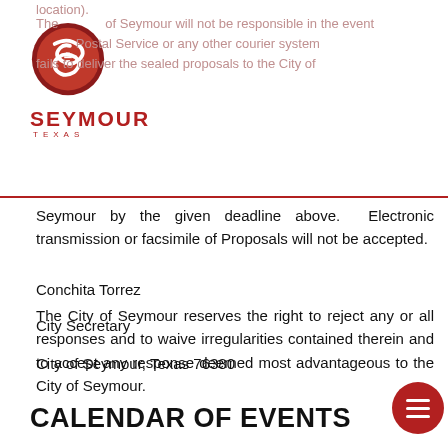[Figure (logo): Seymour Texas city logo - red circular seal with stylized S and swoosh, with text SEYMOUR TEXAS in red below]
The City of Seymour will not be responsible in the event Postal Service or any other courier system fails to deliver the sealed proposals to the City of Seymour by the given deadline above.  Electronic transmission or facsimile of Proposals will not be accepted.
The City of Seymour reserves the right to reject any or all responses and to waive irregularities contained therein and to accept any response deemed most advantageous to the City of Seymour.
Conchita Torrez
City Secretary
City of Seymour, Texas 76380
CALENDAR OF EVENTS